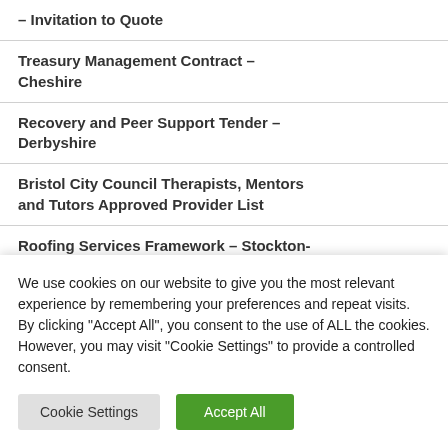– Invitation to Quote
Treasury Management Contract – Cheshire
Recovery and Peer Support Tender – Derbyshire
Bristol City Council Therapists, Mentors and Tutors Approved Provider List
Roofing Services Framework – Stockton-on-Tees
Roofer Tender – London
We use cookies on our website to give you the most relevant experience by remembering your preferences and repeat visits. By clicking "Accept All", you consent to the use of ALL the cookies. However, you may visit "Cookie Settings" to provide a controlled consent.